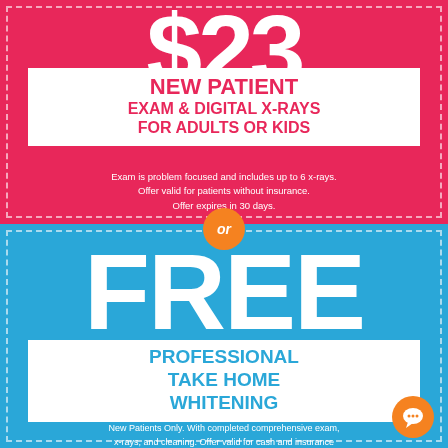$23
NEW PATIENT EXAM & DIGITAL X-RAYS FOR ADULTS OR KIDS
Exam is problem focused and includes up to 6 x-rays. Offer valid for patients without insurance. Offer expires in 30 days.
or
FREE
PROFESSIONAL TAKE HOME WHITENING
New Patients Only. With completed comprehensive exam, x-rays, and cleaning. Offer valid for cash and insurance